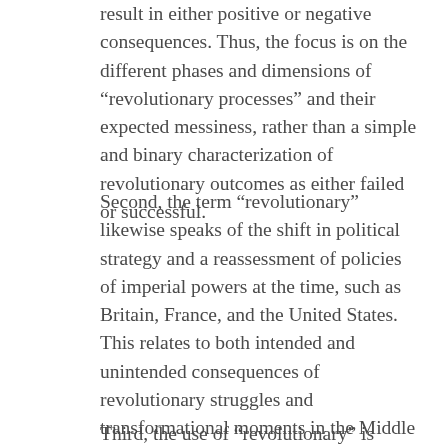result in either positive or negative consequences. Thus, the focus is on the different phases and dimensions of “revolutionary processes” and their expected messiness, rather than a simple and binary characterization of revolutionary outcomes as either failed or successful.
Second, the term “revolutionary” likewise speaks of the shift in political strategy and a reassessment of policies of imperial powers at the time, such as Britain, France, and the United States. This relates to both intended and unintended consequences of revolutionary struggles and transformational moments in the Middle East during the 1950s on states outside the region. This approach demonstrates that transformational moments in the Middle East were equally impactful, though in different ways, for outside actors and powers.
Third, the use of “revolutionary” is similarly an accurate